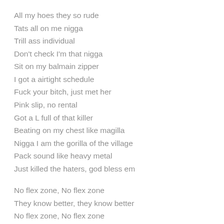All my hoes they so rude
Tats all on me nigga
Trill ass individual
Don't check I'm that nigga
Sit on my balmain zipper
I got a airtight schedule
Fuck your bitch, just met her
Pink slip, no rental
Got a L full of that killer
Beating on my chest like magilla
Nigga I am the gorilla of the village
Pack sound like heavy metal
Just killed the haters, god bless em
No flex zone, No flex zone
They know better, they know better
No flex zone, No flex zone
They know better, they know better